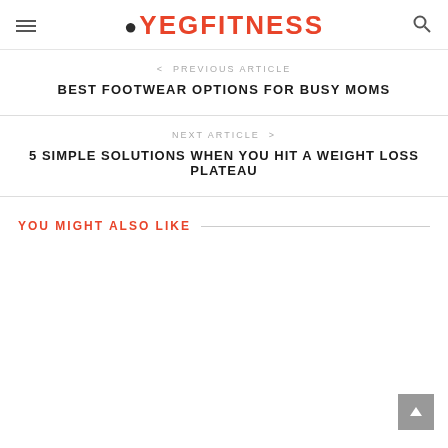YEGFITNESS
< PREVIOUS ARTICLE
BEST FOOTWEAR OPTIONS FOR BUSY MOMS
NEXT ARTICLE >
5 SIMPLE SOLUTIONS WHEN YOU HIT A WEIGHT LOSS PLATEAU
YOU MIGHT ALSO LIKE